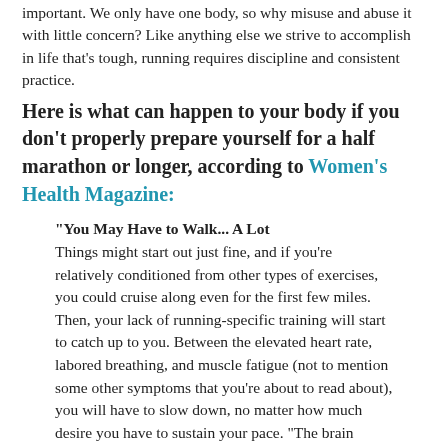important. We only have one body, so why misuse and abuse it with little concern? Like anything else we strive to accomplish in life that's tough, running requires discipline and consistent practice.
Here is what can happen to your body if you don't properly prepare yourself for a half marathon or longer, according to Women's Health Magazine:
"You May Have to Walk... A Lot
Things might start out just fine, and if you're relatively conditioned from other types of exercises, you could cruise along even for the first few miles. Then, your lack of running-specific training will start to catch up to you. Between the elevated heart rate, labored breathing, and muscle fatigue (not to mention some other symptoms that you're about to read about), you will have to slow down, no matter how much desire you have to sustain your pace. "The brain monitors the status of what's going on in